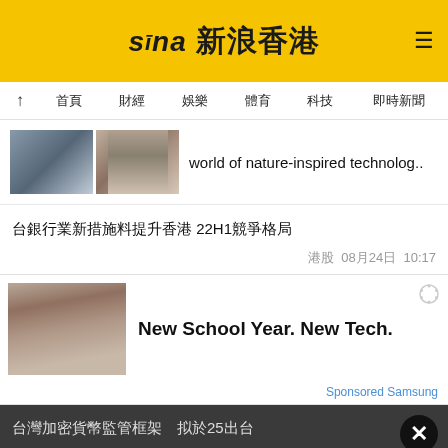Sina 新浪香港
↑  首頁  財經  娛樂  體育  科技  即時新聞
[Figure (photo): Two thumbnail photos side by side next to article headline]
world of nature-inspired technolog..
台銀行業新措施料提升香港 22H1競爭格局
港股  08月24日  10:17
[Figure (photo): Group of students walking up steps for Samsung ad]
New School Year. New Tech.
Sponsored Samsung
台灣加密貨幣監管框架  拟於25出台
港股  08月24日  10:16
亞太區科技創業公司融資趨勢分析